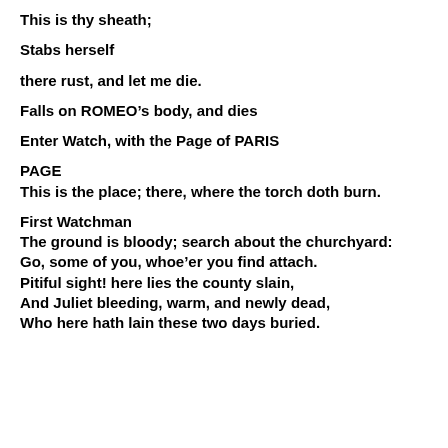This is thy sheath;
Stabs herself
there rust, and let me die.
Falls on ROMEO's body, and dies
Enter Watch, with the Page of PARIS
PAGE
This is the place; there, where the torch doth burn.
First Watchman
The ground is bloody; search about the churchyard:
Go, some of you, whoe'er you find attach.
Pitiful sight! here lies the county slain,
And Juliet bleeding, warm, and newly dead,
Who here hath lain these two days buried.